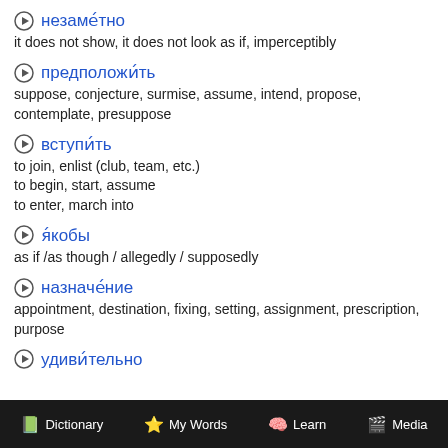незаме́тно
it does not show, it does not look as if, imperceptibly
предположи́ть
suppose, conjecture, surmise, assume, intend, propose, contemplate, presuppose
вступи́ть
to join, enlist (club, team, etc.)
to begin, start, assume
to enter, march into
я́кобы
as if /as though / allegedly / supposedly
назначе́ние
appointment, destination, fixing, setting, assignment, prescription, purpose
удиви́тельно
Dictionary   My Words   Learn   Media